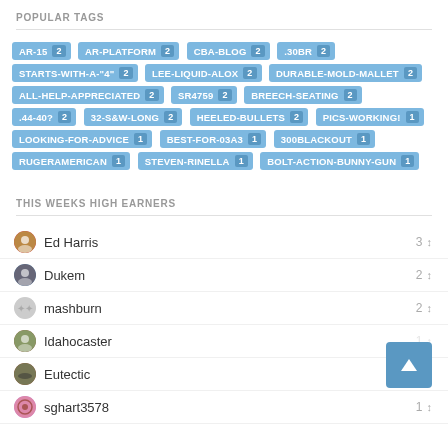POPULAR TAGS
AR-15 2, AR-PLATFORM 2, CBA-BLOG 2, .30BR 2, STARTS-WITH-A-"4" 2, LEE-LIQUID-ALOX 2, DURABLE-MOLD-MALLET 2, ALL-HELP-APPRECIATED 2, SR4759 2, BREECH-SEATING 2, .44-40? 2, 32-S&W-LONG 2, HEELED-BULLETS 2, PICS-WORKING! 1, LOOKING-FOR-ADVICE 1, BEST-FOR-03A3 1, 300BLACKOUT 1, RUGERAMERICAN 1, STEVEN-RINELLA 1, BOLT-ACTION-BUNNY-GUN 1
THIS WEEKS HIGH EARNERS
Ed Harris 3
Dukem 2
mashburn 2
Idahocaster 1
Eutectic 1
sghart3578 1